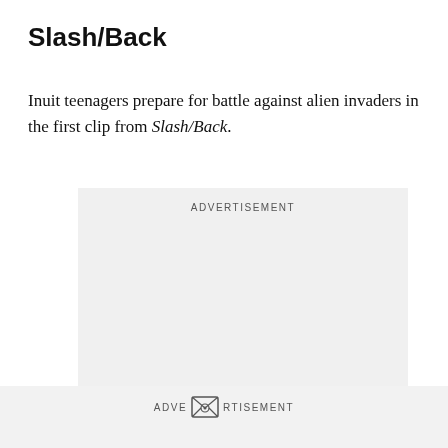Slash/Back
Inuit teenagers prepare for battle against alien invaders in the first clip from Slash/Back.
[Figure (other): Advertisement placeholder box with the label ADVERTISEMENT at top center and a smaller label at bottom center.]
[Figure (other): Footer advertisement bar with envelope icon and ADVERTISEMENT label.]